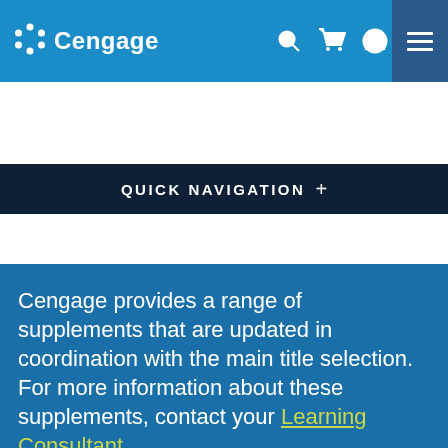Cengage
QUICK NAVIGATION +
Cengage provides a range of supplements that are updated in coordination with the main title selection. For more information about these supplements, contact your Learning Consultant.
Your web browser (iOS 11) is out of date. Update your browser for more security, speed and the best experience on this site. Update browser